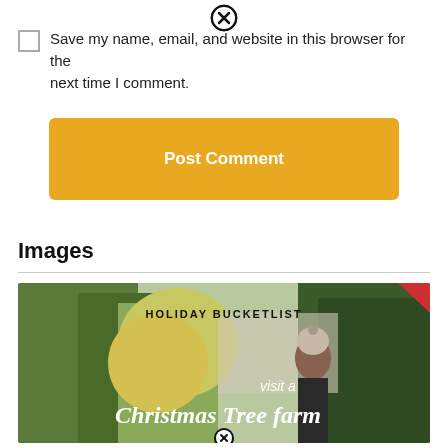[Figure (other): Close/dismiss X button icon at top center]
Save my name, email, and website in this browser for the next time I comment.
Post Comment
Images
[Figure (photo): Holiday bucketlist image showing a woman in a knit hat among Christmas trees at a Christmas tree farm. Text overlay reads 'HOLIDAY BUCKETLIST' and 'visit a Christmas Tree farm']